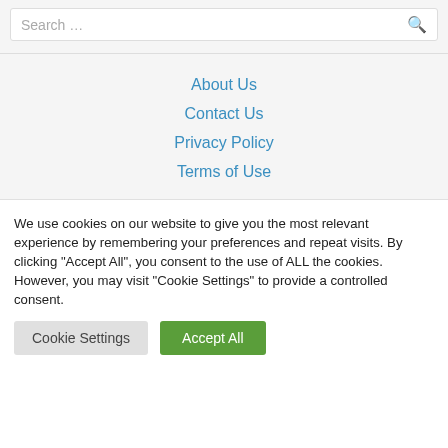Search …
About Us
Contact Us
Privacy Policy
Terms of Use
We use cookies on our website to give you the most relevant experience by remembering your preferences and repeat visits. By clicking "Accept All", you consent to the use of ALL the cookies. However, you may visit "Cookie Settings" to provide a controlled consent.
Cookie Settings
Accept All